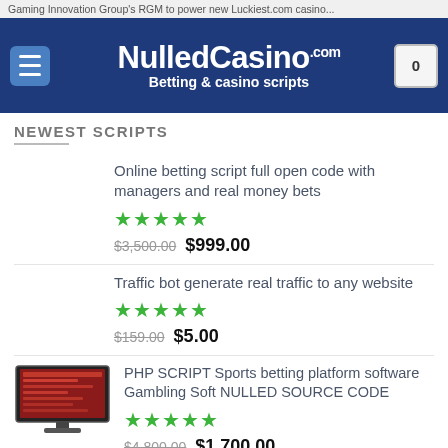Gaming Innovation Group's RGM to power new Luckiest.com casino...
NulledCasino.com Betting & casino scripts
NEWEST SCRIPTS
Online betting script full open code with managers and real money bets ★★★★★ $3,500.00 $999.00
Traffic bot generate real traffic to any website ★★★★★ $159.00 $5.00
PHP SCRIPT Sports betting platform software Gambling Soft NULLED SOURCE CODE ★★★★★ $4,800.00 $1,700.00